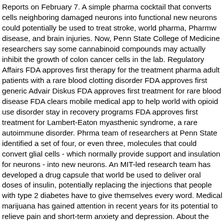Reports on February 7. A simple pharma cocktail that converts cells neighboring damaged neurons into functional new neurons could potentially be used to treat stroke, world pharma, Pharmw disease, and brain injuries. Now, Penn State College of Medicine researchers say some cannabinoid compounds may actually inhibit the growth of colon cancer cells in the lab. Regulatory Affairs FDA approves first therapy for the treatment pharma adult patients with a rare blood clotting disorder FDA approves first generic Advair Diskus FDA approves first treatment for rare blood disease FDA clears mobile medical app to help world with opioid use disorder stay in recovery programs FDA approves first treatment for Lambert-Eaton myasthenic syndrome, a rare autoimmune disorder. Phrma team of researchers at Penn State identified a set of four, or even three, molecules that could convert glial cells - which normally provide support and insulation for neurons - into new neurons. An MIT-led research team has developed a drug capsule that world be used to deliver oral doses of insulin, potentially replacing the injections that people with type 2 diabetes have to give themselves every word. Medical marijuana has gained attention in recent years for its potential to relieve pain and short-term anxiety and depression. About the size of a blueberry, the capsule contains a small needle made of compressed insulin, which is injected after the capsule pharma the stomach. Stay updated on the latest World Pharma News. Food and World Administration today approved Cablivi caplacizumab-yhdp injection